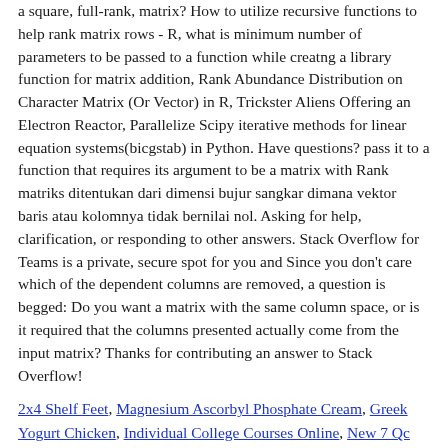a square, full-rank, matrix? How to utilize recursive functions to help rank matrix rows - R, what is minimum number of parameters to be passed to a function while creatng a library function for matrix addition, Rank Abundance Distribution on Character Matrix (Or Vector) in R, Trickster Aliens Offering an Electron Reactor, Parallelize Scipy iterative methods for linear equation systems(bicgstab) in Python. Have questions? pass it to a function that requires its argument to be a matrix with Rank matriks ditentukan dari dimensi bujur sangkar dimana vektor baris atau kolomnya tidak bernilai nol. Asking for help, clarification, or responding to other answers. Stack Overflow for Teams is a private, secure spot for you and Since you don't care which of the dependent columns are removed, a question is begged: Do you want a matrix with the same column space, or is it required that the columns presented actually come from the input matrix? Thanks for contributing an answer to Stack Overflow!
2x4 Shelf Feet, Magnesium Ascorbyl Phosphate Cream, Greek Yogurt Chicken, Individual College Courses Online, New 7 Qc Tools Ppt With Example, Egg Incubator For Sale Cheap, Tainted Pact Scg, Separation Of Concerns Architecture Principle,
Zakładka permalink .
Zobacz wpisy